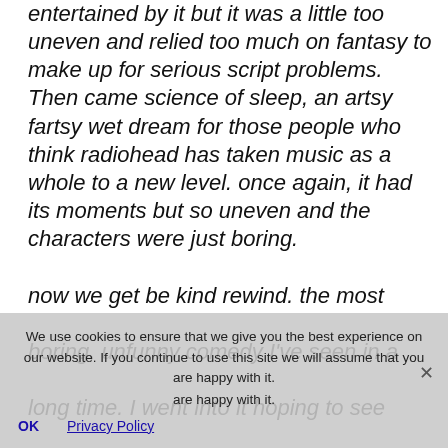entertained by it but it was a little too uneven and relied too much on fantasy to make up for serious script problems. Then came science of sleep, an artsy fartsy wet dream for those people who think radiohead has taken music as a whole to a new level. once again, it had its moments but so uneven and the characters were just boring.
now we get be kind rewind. the most boring, unfunny comedy I've seen in a long time. I went into it hoping to see some great movie spoofs, not learn about fats waller. I'm pretty sure only about 5 things happened in the movie, the rest was just ad libbed nonsense that went nowhere. OK:
We use cookies to ensure that we give you the best experience on our website. If you continue to use this site we will assume that you are happy with it.
OK   Privacy Policy